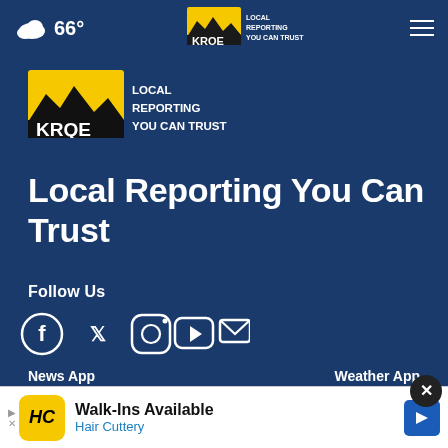66° KRQE LOCAL REPORTING YOU CAN TRUST
[Figure (logo): KRQE Local Reporting You Can Trust logo - large version, yellow and black logo with white text on dark blue background]
Local Reporting You Can Trust
Follow Us
[Figure (infographic): Social media icons: Facebook, Twitter, Instagram, YouTube, Email]
News App
Weather App
[Figure (screenshot): App store download buttons for News App and Weather App (Apple App Store and Google Play)]
[Figure (infographic): Ad overlay: Hair Cuttery - Walk-Ins Available advertisement with close button]